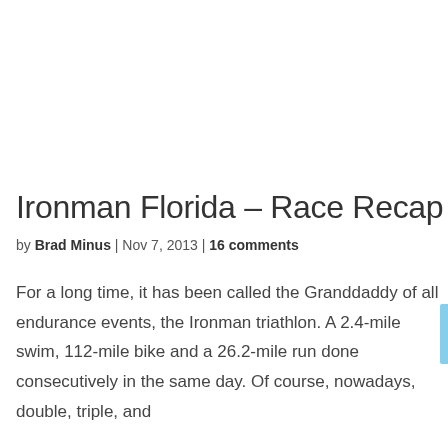Ironman Florida – Race Recap
by Brad Minus | Nov 7, 2013 | 16 comments
For a long time, it has been called the Granddaddy of all endurance events, the Ironman triathlon. A 2.4-mile swim, 112-mile bike and a 26.2-mile run done consecutively in the same day. Of course, nowadays, double, triple, and